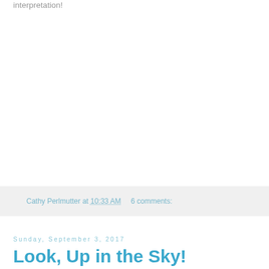interpretation!
Cathy Perlmutter at 10:33 AM    6 comments:
Sunday, September 3, 2017
Look, Up in the Sky! Eclipse? Fruit Cocktail?